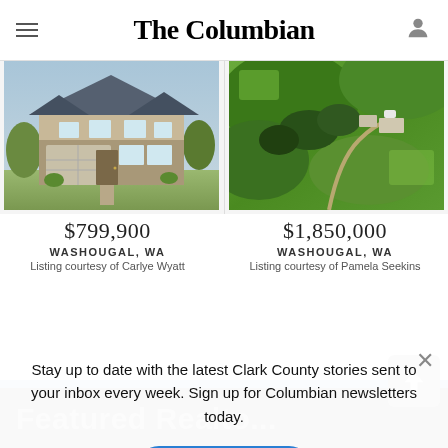The Columbian
[Figure (photo): House exterior photo - two-story home with stone and siding facade, two-car garage]
$799,900
WASHOUGAL, WA
Listing courtesy of Carlye Wyatt
[Figure (photo): Aerial photo of rural property with green hills, trees, and buildings]
$1,850,000
WASHOUGAL, WA
Listing courtesy of Pamela Seekins
Featured Realto...
Stay up to date with the latest Clark County stories sent to your inbox every week. Sign up for Columbian newsletters today.
Sign up >